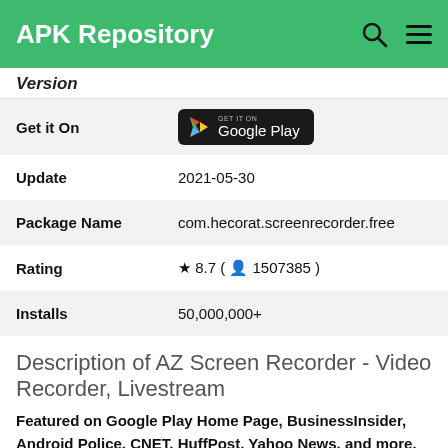APK Repository
Version
| Field | Value |
| --- | --- |
| Get it On | Google Play |
| Update | 2021-05-30 |
| Package Name | com.hecorat.screenrecorder.free |
| Rating | ★ 8.7 ( 👤 1507385 ) |
| Installs | 50,000,000+ |
Description of AZ Screen Recorder - Video Recorder, Livestream
Featured on Google Play Home Page, BusinessInsider, Android Police, CNET, HuffPost, Yahoo News, and more.